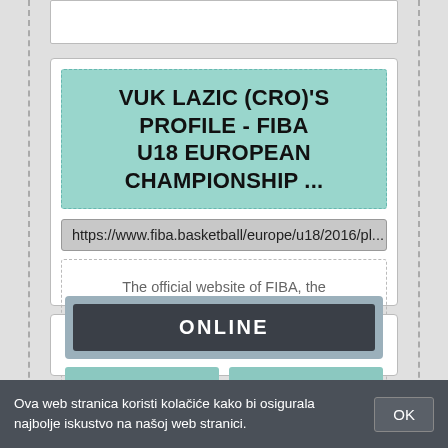[Figure (screenshot): Top partial box (cropped from above)]
VUK LAZIC (CRO)'S PROFILE - FIBA U18 EUROPEAN CHAMPIONSHIP ...
https://www.fiba.basketball/europe/u18/2016/pl...
The official website of FIBA, the International Basketball Federation, and the governing body of Basketball. FIBA organises the most famous and prestigious ...
[Figure (screenshot): ONLINE button in dark grey with teal/grey border, and two teal buttons below]
Ova web stranica koristi kolačiće kako bi osigurala najbolje iskustvo na našoj web stranici.